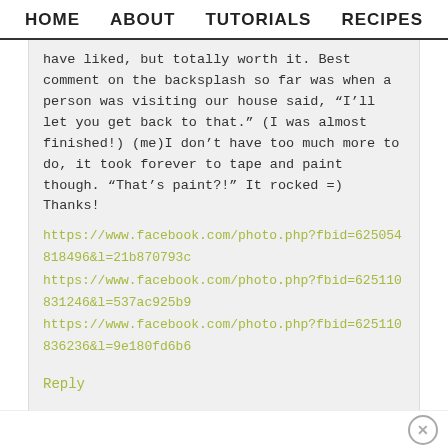HOME   ABOUT   TUTORIALS   RECIPES
have liked, but totally worth it. Best comment on the backsplash so far was when a person was visiting our house said, “I’ll let you get back to that.” (I was almost finished!) (me)I don’t have too much more to do, it took forever to tape and paint though. “That’s paint?!” It rocked =) Thanks!
https://www.facebook.com/photo.php?fbid=625054818496&l=21b870793c
https://www.facebook.com/photo.php?fbid=625110831246&l=537ac925b9
https://www.facebook.com/photo.php?fbid=625110836236&l=9e180fd6b6
Reply